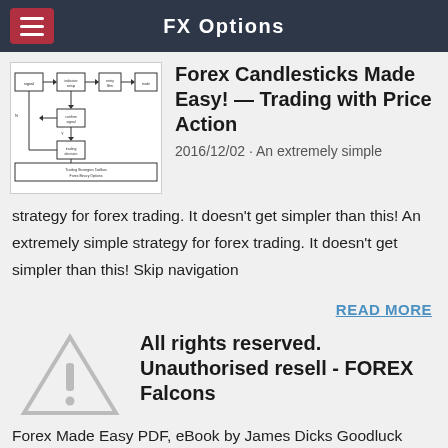FX Options
Forex Candlesticks Made Easy! — Trading with Price Action
[Figure (schematic): Flowchart/block diagram for trading strategy]
2016/12/02 · An extremely simple strategy for forex trading. It doesn't get simpler than this! An extremely simple strategy for forex trading. It doesn't get simpler than this! Skip navigation
READ MORE
All rights reserved. Unauthorised resell - FOREX Falcons
[Figure (other): Warning/alert triangle icon]
Forex Made Easy PDF, eBook by James Dicks Goodluck Popular Pages. p. 1 p. 2 FOREX MADE EASY p. 3 p. 4 FOREX MADE EASY 6 Ways to Trade the